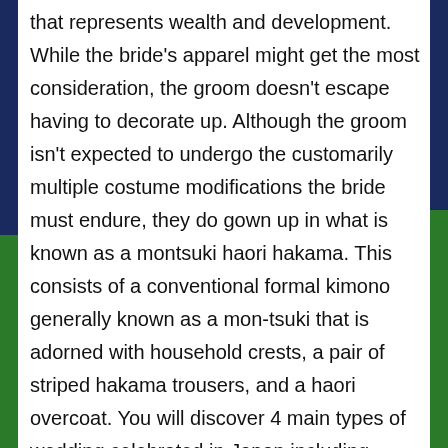that represents wealth and development. While the bride's apparel might get the most consideration, the groom doesn't escape having to decorate up. Although the groom isn't expected to undergo the customarily multiple costume modifications the bride must endure, they do gown up in what is known as a montsuki haori hakama. This consists of a conventional formal kimono generally known as a mon-tsuki that is adorned with household crests, a pair of striped hakama trousers, and a haori overcoat. You will discover 4 main types of wedding celebrated in Japan including Shinto, Christian, Buddist, and non-spiritual. This fashion of marriage ceremony grew to become well-liked